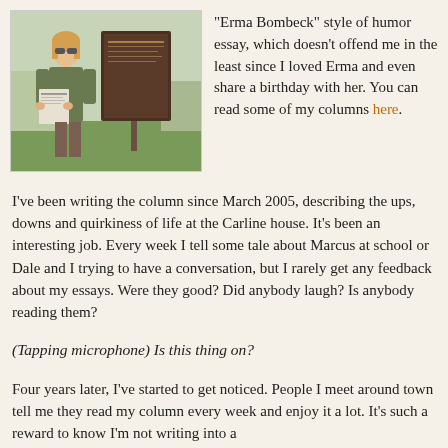[Figure (photo): Woman standing outdoors in front of a historical marker sign, holding what appears to be a newspaper or publication]
"Erma Bombeck" style of humor essay, which doesn't offend me in the least since I loved Erma and even share a birthday with her. You can read some of my columns here.
I've been writing the column since March 2005, describing the ups, downs and quirkiness of life at the Carline house. It's been an interesting job. Every week I tell some tale about Marcus at school or Dale and I trying to have a conversation, but I rarely get any feedback about my essays. Were they good? Did anybody laugh? Is anybody reading them?
(Tapping microphone) Is this thing on?
Four years later, I've started to get noticed. People I meet around town tell me they read my column every week and enjoy it a lot. It's such a reward to know I'm not writing into a